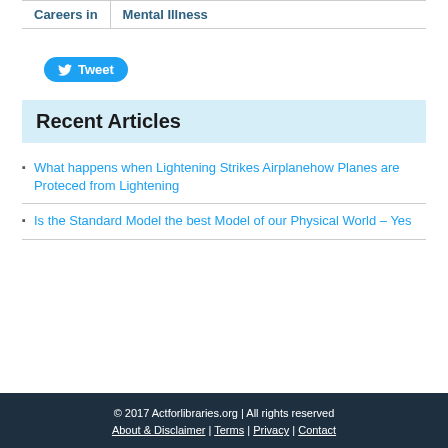Careers in | Mental Illness
[Figure (other): Tweet button with Twitter bird icon]
Recent Articles
What happens when Lightening Strikes Airplanehow Planes are Proteced from Lightening
Is the Standard Model the best Model of our Physical World – Yes
© 2017 Actforlibraries.org | All rights reserved
About & Disclaimer | Terms | Privacy | Contact